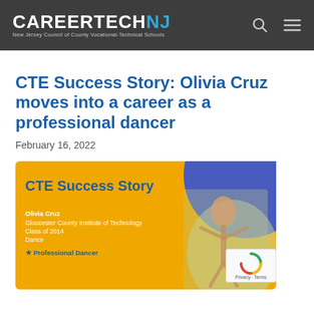CAREERTECH NJ — New Jersey Council of County Vocational-Technical Schools
CTE Success Story: Olivia Cruz moves into a career as a professional dancer
February 16, 2022
[Figure (infographic): CTE Success Story promotional graphic with gold/yellow background, blue circle accent, text 'CTE Success Story', 'Olivia Cruz', 'Gloucester County Institute of Technology', 'Class of 2014', 'Dance', 'Professional Dancer', and a photo of Olivia Cruz posing outdoors under blossoming trees]